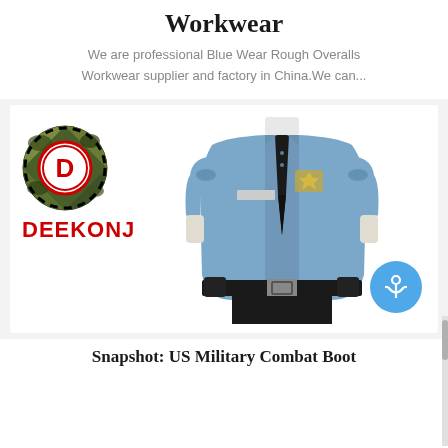Workwear
We are professional Blue Wear Rough Overalls Workwear supplier and factory in China.We can...
[Figure (photo): DEEKONJ logo (camouflage circular emblem with red D letter) above red bold DEEKONJ text, next to a photo of a police/security officer uniform (light blue shirt with badge, black tie, black belt with gear, black trousers) on a mannequin, with a blue anchor button in the bottom-right corner]
Snapshot: US Military Combat Boot